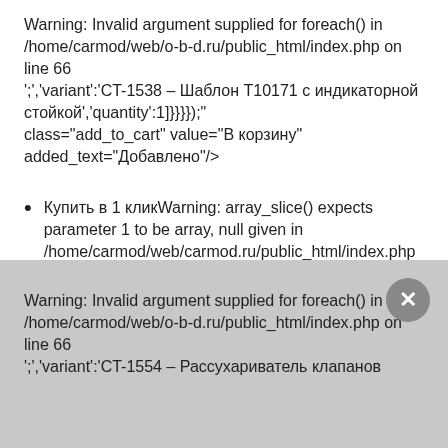Warning: Invalid argument supplied for foreach() in /home/carmod/web/o-b-d.ru/public_html/index.php on line 66 ';','variant':'CT-1538 – Шаблон T10171 с индикаторной стойкой','quantity':1]}}}); class="add_to_cart" value="В корзину" added_text="Добавлено"/>
Купить в 1 кликWarning: array_slice() expects parameter 1 to be array, null given in /home/carmod/web/carmod.ru/public_html/index.php on line 64
Warning: Invalid argument supplied for foreach() in /home/carmod/web/o-b-d.ru/public_html/index.php on line 66 ';','variant':'CT-1554 – Рассухариватель клапанов